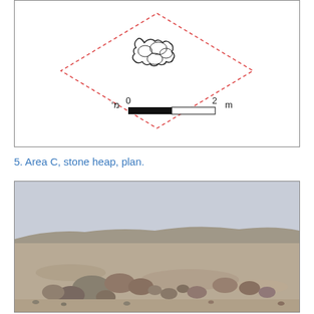[Figure (schematic): Archaeological plan diagram showing a stone heap with dashed diamond outline and irregular stone cluster in center, with a scale bar showing 0 to 2 meters (with Hebrew 'מ' on left and 'm' on right)]
5. Area C, stone heap, plan.
[Figure (photo): Photograph of an arid desert landscape with a stone heap or cairn of large rocks in the foreground, flat stony ground extending to low hills and a pale overcast sky in the background]